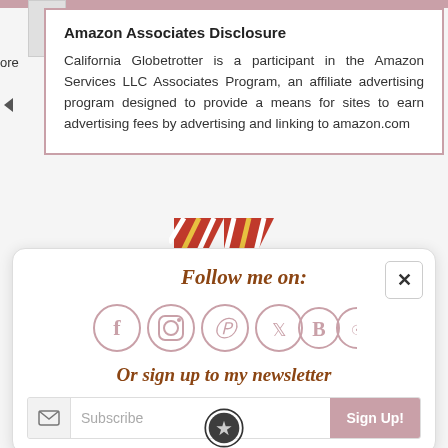Amazon Associates Disclosure
California Globetrotter is a participant in the Amazon Services LLC Associates Program, an affiliate advertising program designed to provide a means for sites to earn advertising fees by advertising and linking to amazon.com
[Figure (logo): Partial W logo in red and yellow diagonal stripes]
Follow me on:
[Figure (infographic): Row of social media icons in circles: Facebook, Instagram, Pinterest, Twitter, Bloglovin, RSS]
Or sign up to my newsletter
Subscribe  Sign Up!
[Figure (logo): Partial circular badge/emblem at bottom of page]